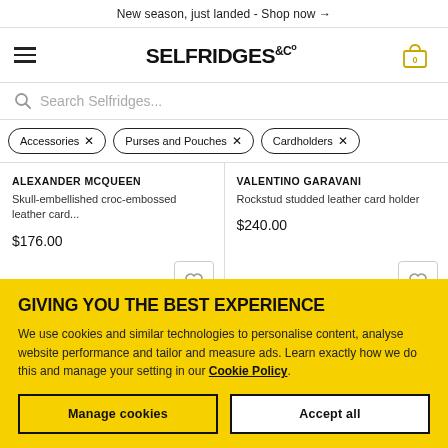New season, just landed - Shop now →
[Figure (logo): Selfridges & Co logo with hamburger menu and cart icon]
Search Selfridges...
Accessories ×  Purses and Pouches ×  Cardholders ×
ALEXANDER MCQUEEN
Skull-embellished croc-embossed leather card...
$176.00
VALENTINO GARAVANI
Rockstud studded leather card holder
$240.00
GIVING YOU THE BEST EXPERIENCE
We use cookies and similar technologies to personalise content, analyse website performance and tailor and measure ads. Learn exactly how we do this and manage your setting in our Cookie Policy.
Manage cookies
Accept all